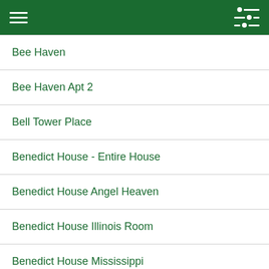Menu / Filter icons
Bee Haven
Bee Haven Apt 2
Bell Tower Place
Benedict House - Entire House
Benedict House Angel Heaven
Benedict House Illinois Room
Benedict House Mississippi
Benedict House President's Room
Benedict House Virginia Room
The Birdcage